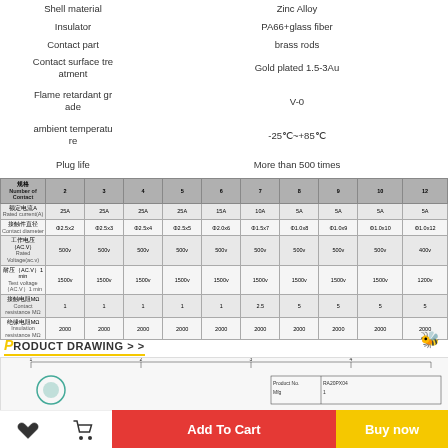| 规格 Number of Contact | 2 | 3 | 4 | 5 | 6 | 7 | 8 | 9 | 10 | 12 |
| --- | --- | --- | --- | --- | --- | --- | --- | --- | --- | --- |
| 额定电流A Rated current(A) | 25A | 25A | 25A | 25A | 15A | 10A | 5A | 5A | 5A | 5A |
| 接触件直径 Contact diameter | Φ2.5x2 | Φ2.5x3 | Φ2.5x4 | Φ2.5x5 | Φ2.0x6 | Φ1.5x7 | Φ1.0x8 | Φ1.0x9 | Φ1.0x10 | Φ1.0x12 |
| 工作电压(AC.V) Rated Voltage(ac.v) | 500v | 500v | 500v | 500v | 500v | 500v | 500v | 500v | 500v | 400v |
| 耐压(AC.V)1 min Test voltage(AC.V)1 min | 1500v | 1500v | 1500v | 1500v | 1500v | 1500v | 1500v | 1500v | 1500v | 1200v |
| 接触电阻MΩ Contact resistance MΩ | 1 | 1 | 1 | 1 | 1 | 2.5 | 5 | 5 | 5 | 5 |
| 绝缘电阻MΩ Insulation resistance MΩ | 2000 | 2000 | 2000 | 2000 | 2000 | 2000 | 2000 | 2000 | 2000 | 2000 |
Shell material: Zinc Alloy
Insulator: PA66+glass fiber
Contact part: brass rods
Contact surface treatment: Gold plated 1.5-3Au
Flame retardant grade: V-0
ambient temperature: -25℃~+85℃
Plug life: More than 500 times
PRODUCT DRAWING > >
[Figure (engineering-diagram): Product drawing showing dimensional diagram of the connector with product number RA20PX04]